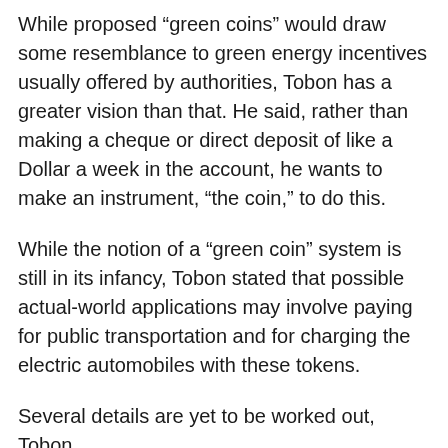While proposed “green coins” would draw some resemblance to green energy incentives usually offered by authorities, Tobon has a greater vision than that. He said, rather than making a cheque or direct deposit of like a Dollar a week in the account, he wants to make an instrument, “the coin,” to do this.
While the notion of a “green coin” system is still in its infancy, Tobon stated that possible actual-world applications may involve paying for public transportation and for charging the electric automobiles with these tokens.
Several details are yet to be worked out, Tobon